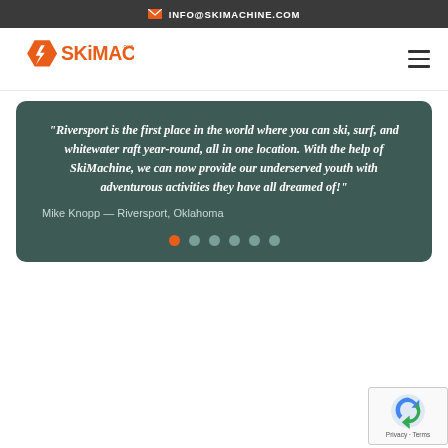INFO@SKIMACHINE.COM
[Figure (logo): SkiMachine logo with orange hexagon lightning bolt icon and orange text reading SKIMACHINE.com]
“Riversport is the first place in the world where you can ski, surf, and whitewater raft year-round, all in one location. With the help of SkiMachine, we can now provide our underserved youth with adventurous activities they have all dreamed of!”
Mike Knopp — Riversport, Oklahoma